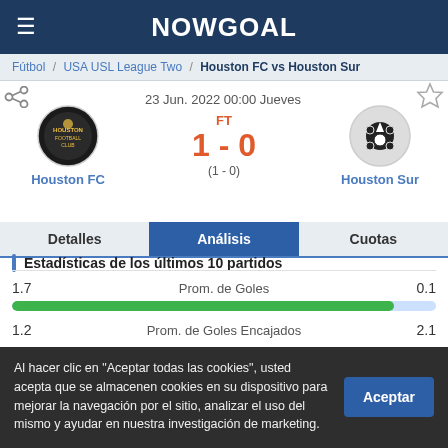NOWGOAL
Fútbol / USA USL League Two / Houston FC vs Houston Sur
23 Jun. 2022 00:00 Jueves
FT 1 - 0 (1 - 0) Houston FC vs Houston Sur
Detalles | Análisis | Cuotas
Estadísticas de los últimos 10 partidos
|  | Prom. de Goles |  |
| --- | --- | --- |
| 1.7 | Prom. de Goles | 0.1 |
| 1.2 | Prom. de Goles Encajados | 2.1 |
Al hacer clic en "Aceptar todas las cookies", usted acepta que se almacenen cookies en su dispositivo para mejorar la navegación por el sitio, analizar el uso del mismo y ayudar en nuestra investigación de marketing.